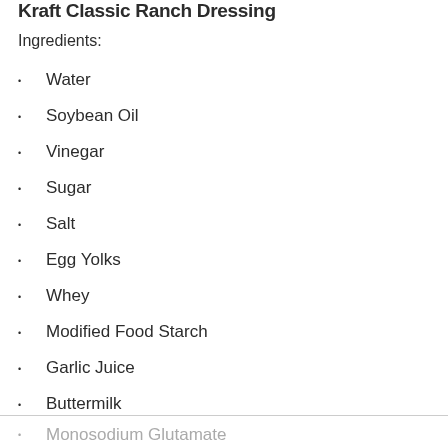Kraft Classic Ranch Dressing
Ingredients:
Water
Soybean Oil
Vinegar
Sugar
Salt
Egg Yolks
Whey
Modified Food Starch
Garlic Juice
Buttermilk
Monosodium Glutamate
Xanthan Gum